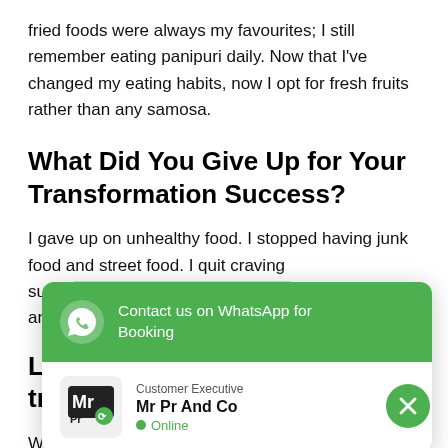fried foods were always my favourites; I still remember eating panipuri daily. Now that I've changed my eating habits, now I opt for fresh fruits rather than any samosa.
What Did You Give Up for Your Transformation Success?
I gave up on unhealthy food. I stopped having junk food and street food. I quit craving sugar. [obscured] and began ea[ting]
Lessons le[arned from my] transformation
Weight loss is more than just going to the
[Figure (screenshot): WhatsApp contact popup overlay with green header 'Contact us on WhatsApp for Booking', logo of Mr Pr And Co, Customer Executive label, and Online status indicator with a close button]